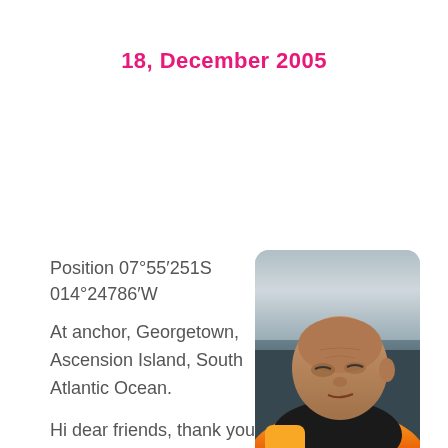18, December 2005
Position 07°55′251S 014°24786′W
At anchor, Georgetown, Ascension Island, South Atlantic Ocean.
[Figure (photo): Close-up photo of a bald middle-aged man wearing a yellow and black jacket, photographed outdoors with overcast sky and water in the background.]
Hi dear friends, thank you for following our journey, firstly may we take this